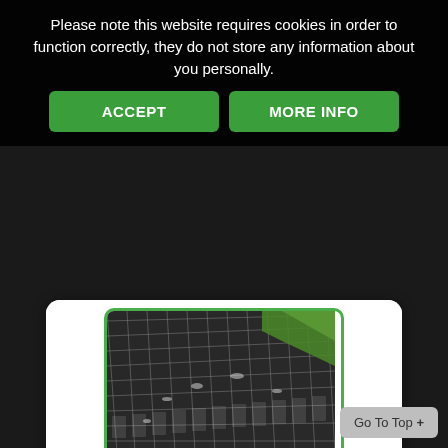Please note this website requires cookies in order to function correctly, they do not store any information about you personally.
ACCEPT
MORE INFO
[Figure (photo): Aerial/close-up view of Geoweb geocell slope protection system installed on a slope with grass visible at edge]
Geoweb Slope and Channel Protection
The Geoweb ® Slope and Channel Protection system stabilises and protects against sliding forces and
Read More
Go To Top +